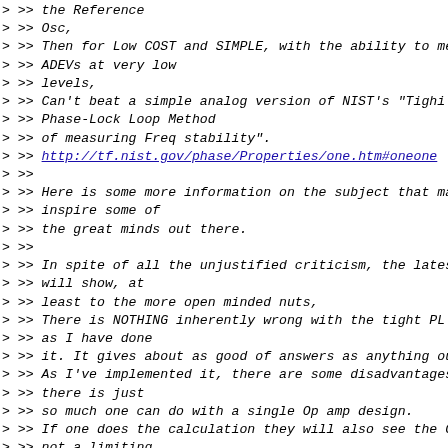> >> the Reference
> >> Osc,
> >> Then for Low COST and SIMPLE, with the ability to me
> >> ADEVs at very low
> >> levels,
> >> Can't beat a simple analog version of  NIST's "Tighi
> >> Phase-Lock Loop Method
> >> of measuring Freq stability".
> >> http://tf.nist.gov/phase/Properties/one.htm#oneone
> >>
> >> Here is some more information on the subject that ma
> >> inspire some of
> >> the great minds out there.
> >>
> >> In spite of all the unjustified criticism, the lates
> >> will show, at
> >> least to the more open minded nuts,
> >> There is NOTHING inherently wrong with the tight PL
> >> as I have done
> >> it. It gives about as good of answers as anything ou
> >> As I've implemented it, there are some disadvantages
> >> there is just
> >> so much one can do with a single Op amp design.
> >> If one does the calculation they will also see the G
> >> not a limiting
> >> factor in the performance of this method.
> >>
> >> AS I have said before, the disadvantage of my simple
> >> version that was
> >> tested, is that it is limited by the Ref Osc and the
> it's freq is